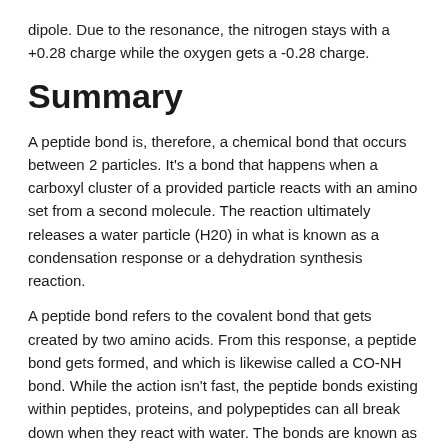dipole. Due to the resonance, the nitrogen stays with a +0.28 charge while the oxygen gets a -0.28 charge.
Summary
A peptide bond is, therefore, a chemical bond that occurs between 2 particles. It's a bond that happens when a carboxyl cluster of a provided particle reacts with an amino set from a second molecule. The reaction ultimately releases a water particle (H20) in what is known as a condensation response or a dehydration synthesis reaction.
A peptide bond refers to the covalent bond that gets created by two amino acids. From this response, a peptide bond gets formed, and which is likewise called a CO-NH bond. While the action isn't fast, the peptide bonds existing within peptides, proteins, and polypeptides can all break down when they react with water. The bonds are known as metastable bonds.